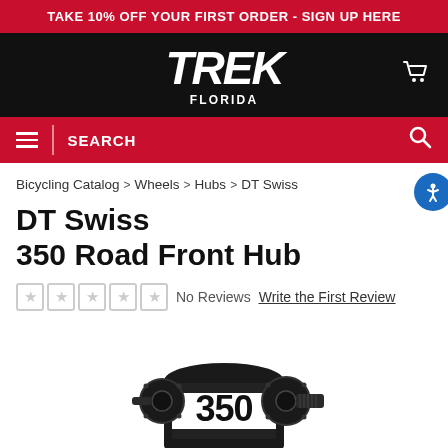TAKE 10% OFF YOUR FIRST ORDER - SIGN UP HERE
[Figure (logo): Trek Florida logo — TREK in large white italic bold text, FLORIDA in smaller white bold text below, on black background. Cart icon top right.]
SEARCH
Bicycling Catalog > Wheels > Hubs > DT Swiss
DT Swiss 350 Road Front Hub
No Reviews  Write the First Review
[Figure (photo): DT Swiss 350 Road Front Hub product photo — black hub with large white '350' lettering, showing flanges and spoke holes, cropped at bottom of page.]